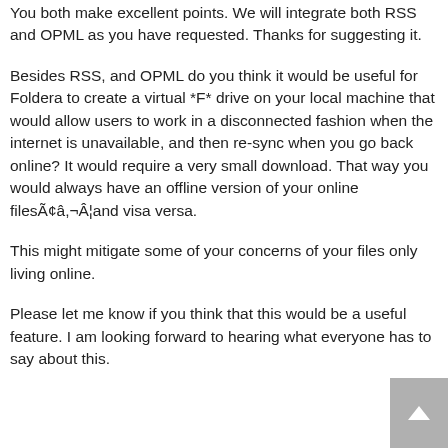You both make excellent points. We will integrate both RSS and OPML as you have requested. Thanks for suggesting it.
Besides RSS, and OPML do you think it would be useful for Foldera to create a virtual *F* drive on your local machine that would allow users to work in a disconnected fashion when the internet is unavailable, and then re-sync when you go back online? It would require a very small download. That way you would always have an offline version of your online filesÃ¢â,¬Â¦and visa versa.
This might mitigate some of your concerns of your files only living online.
Please let me know if you think that this would be a useful feature. I am looking forward to hearing what everyone has to say about this.